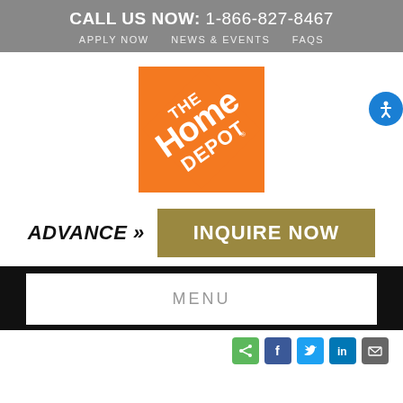CALL US NOW: 1-866-827-8467
APPLY NOW   NEWS & EVENTS   FAQS
[Figure (logo): The Home Depot logo — orange square with white diagonal text reading 'THE HOME DEPOT']
ADVANCE »  INQUIRE NOW
MENU
[Figure (other): Social sharing icons: share (green), Facebook (blue), Twitter (light blue), LinkedIn (dark blue), email (gray)]